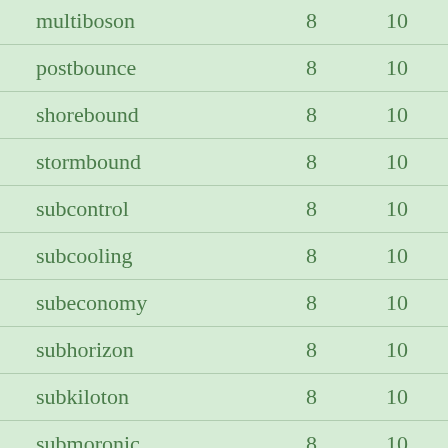| multiboson | 8 | 10 |
| postbounce | 8 | 10 |
| shorebound | 8 | 10 |
| stormbound | 8 | 10 |
| subcontrol | 8 | 10 |
| subcooling | 8 | 10 |
| subeconomy | 8 | 10 |
| subhorizon | 8 | 10 |
| subkiloton | 8 | 10 |
| submoronic | 8 | 10 |